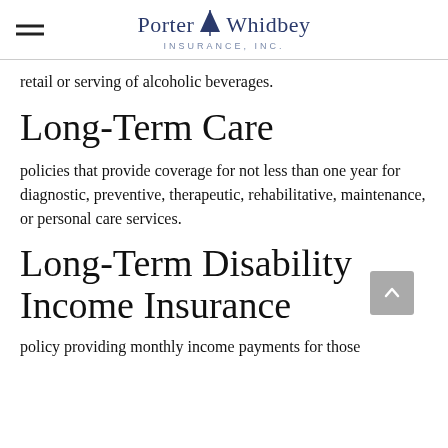Porter Whidbey Insurance, Inc.
retail or serving of alcoholic beverages.
Long-Term Care
policies that provide coverage for not less than one year for diagnostic, preventive, therapeutic, rehabilitative, maintenance, or personal care services.
Long-Term Disability Income Insurance
policy providing monthly income payments for those